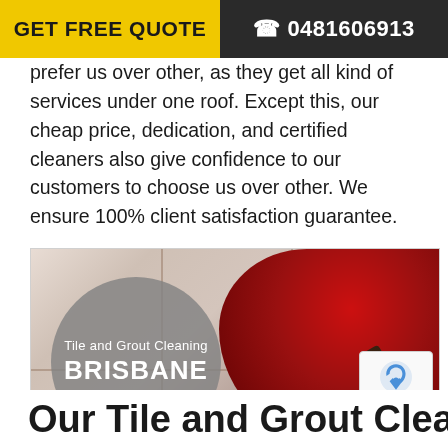GET FREE QUOTE   ☎ 0481606913
prefer us over other, as they get all kind of services under one roof. Except this, our cheap price, dedication, and certified cleaners also give confidence to our customers to choose us over other. We ensure 100% client satisfaction guarantee.
[Figure (photo): A person wearing red rubber gloves scrubbing tile grout with a brush tool. A gray circle overlay reads 'Tile and Grout Cleaning BRISBANE'.]
Tile and Grout Cleaning Ormeau
Our Tile and Grout Cleaning